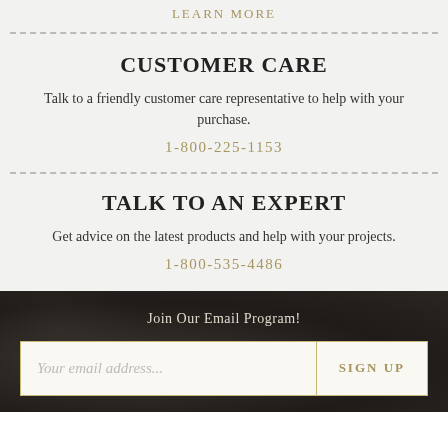LEARN MORE
CUSTOMER CARE
Talk to a friendly customer care representative to help with your purchase.
1-800-225-1153
TALK TO AN EXPERT
Get advice on the latest products and help with your projects.
1-800-535-4486
Join Our Email Program!
Your email address...
SIGN UP